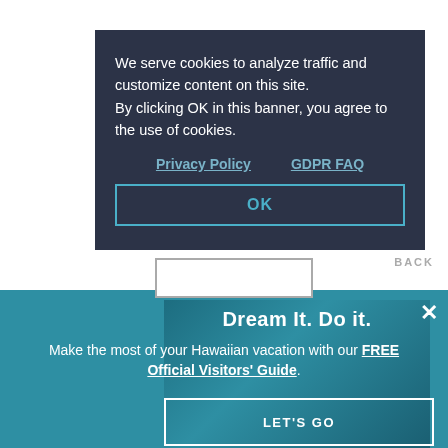[Figure (screenshot): Cookie consent modal dialog over a dark overlay. Text reads: 'We serve cookies to analyze traffic and customize content on this site. By clicking OK in this banner, you agree to the use of cookies.' with Privacy Policy and GDPR FAQ links and an OK button.]
We serve cookies to analyze traffic and customize content on this site. By clicking OK in this banner, you agree to the use of cookies.
Privacy Policy    GDPR FAQ
OK
[Figure (screenshot): Promotional banner with teal background. Title: 'Dream It. Do it.' Body text: 'Make the most of your Hawaiian vacation with our FREE Official Visitors' Guide.' with a LET'S GO button.]
Dream It. Do it.
Make the most of your Hawaiian vacation with our FREE Official Visitors' Guide.
LET'S GO